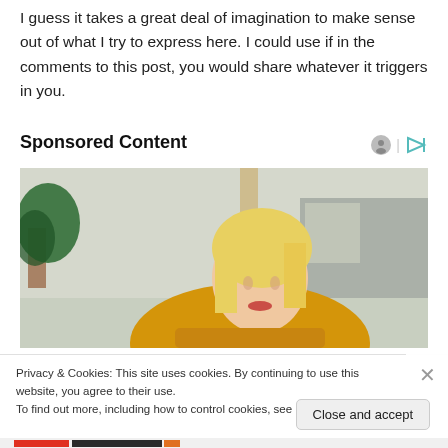I guess it takes a great deal of imagination to make sense out of what I try to express here. I could use if in the comments to this post, you would share whatever it triggers in you.
Sponsored Content
[Figure (photo): A blonde woman in a yellow sweater looking downward, with a plant visible in the background]
Privacy & Cookies: This site uses cookies. By continuing to use this website, you agree to their use.
To find out more, including how to control cookies, see here: Cookie Policy
Close and accept